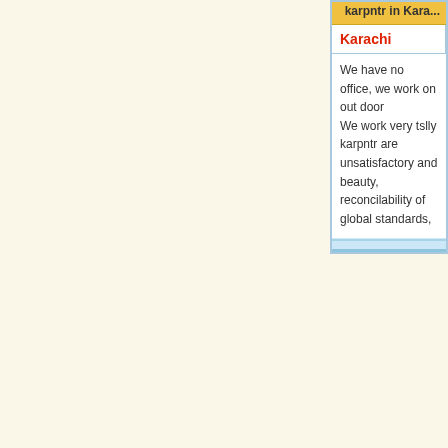| karpntr in Kara... |
| --- |
| Karachi |  |
| We have no office, we work on out door
We work very tslly karpntr are unsatisfactory and beauty, reconcilability of global standards, |  |